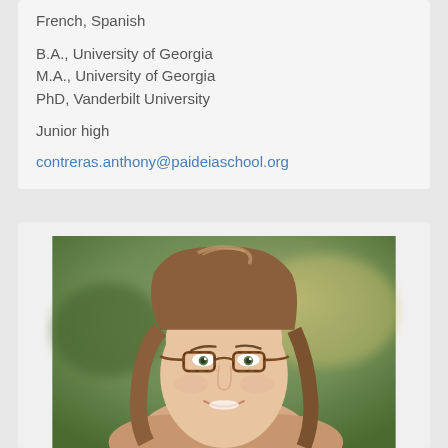French, Spanish
B.A., University of Georgia
M.A., University of Georgia
PhD, Vanderbilt University
Junior high
contreras.anthony@paideiaschool.org
[Figure (photo): Headshot of a woman with long reddish-brown hair, wearing tortoiseshell glasses, smiling, with a blurred outdoor background]